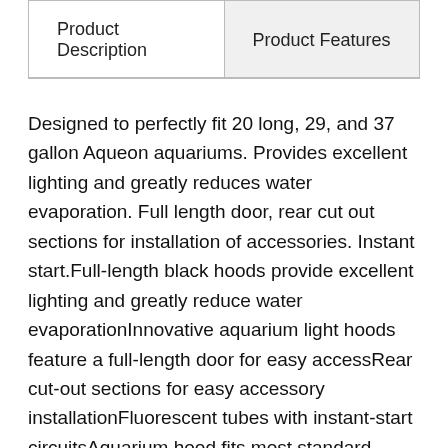| Product Description | Product Features |
| --- | --- |
Designed to perfectly fit 20 long, 29, and 37 gallon Aqueon aquariums. Provides excellent lighting and greatly reduces water evaporation. Full length door, rear cut out sections for installation of accessories. Instant start.Full-length black hoods provide excellent lighting and greatly reduce water evaporationInnovative aquarium light hoods feature a full-length door for easy accessRear cut-out sections for easy accessory installationFluorescent tubes with instant-start circuitsAquarium hood fits most standard sized aquariumsIncludes fish tank lights fixture with aluminum reflectorWARNING This product can expose you to Styrene, which is known to the State of California to cause cancer, and Mercury,